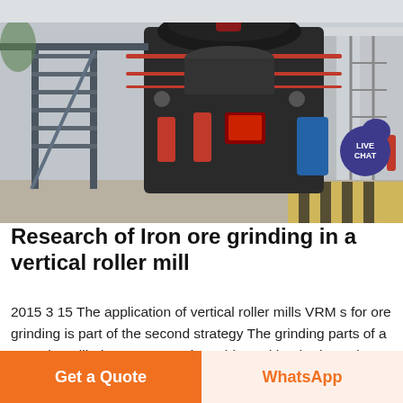[Figure (photo): Industrial vertical roller mill machine inside a factory building, with metal staircases, scaffolding, red safety equipment, and yellow-black warning stripes on the floor.]
Research of Iron ore grinding in a vertical roller mill
2015 3 15 The application of vertical roller mills VRM s for ore grinding is part of the second strategy The grinding parts of a Loesche mill Fig 1 are a rotating table 1 with a horizontal grinding track and
Get a Quote
WhatsApp